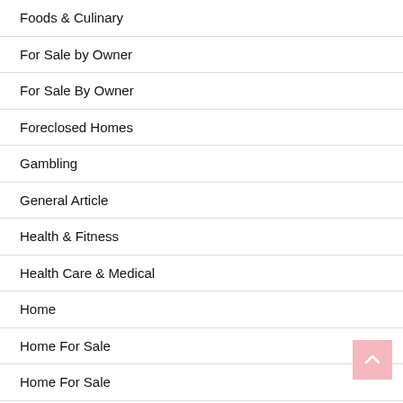Foods & Culinary
For Sale by Owner
For Sale By Owner
Foreclosed Homes
Gambling
General Article
Health & Fitness
Health Care & Medical
Home
Home For Sale
Home For Sale
Home Products & Services
Home Rentals
Homes For Sale By Owner